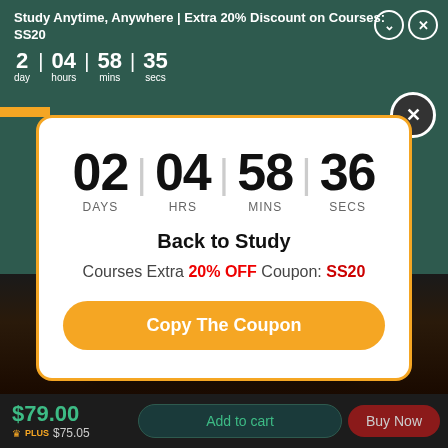Study Anytime, Anywhere | Extra 20% Discount on Courses: SS20
2 day | 04 hours | 58 mins | 35 secs
[Figure (infographic): Countdown timer modal with orange border showing 02 DAYS, 04 HRS, 58 MINS, 36 SECS, title Back to Study, coupon text Courses Extra 20% OFF Coupon: SS20, and Copy The Coupon button]
Back to Study
Courses Extra 20% OFF Coupon: SS20
$79.00
PLUS $75.05
Add to cart
Buy Now